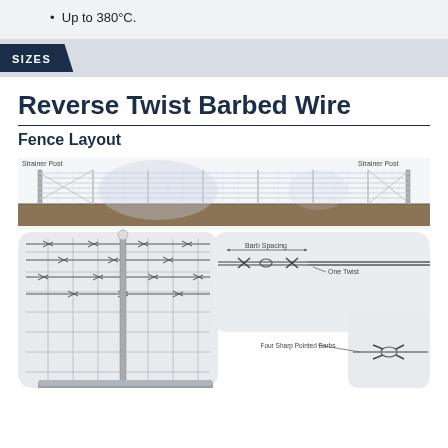Up to 380°C.
SIZES
Reverse Twist Barbed Wire
Fence Layout
[Figure (engineering-diagram): Fence layout diagram showing barbed wire fence with Strainer Posts on both ends, wire grid panels, and ground. Below: close-up of barbed wire showing Barb Spacing, One Twist, and Four Sharp Pointed Barbs labels with detail of the barb construction.]